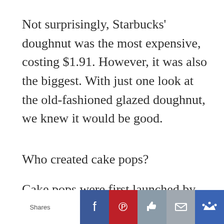Not surprisingly, Starbucks' doughnut was the most expensive, costing $1.91. However, it was also the biggest. With just one look at the old-fashioned glazed doughnut, we knew it would be good.
Who created cake pops?
Cake pops were first launched by the blogger Angie Dudley from Bakerella who, from Martha Stewart's living room,